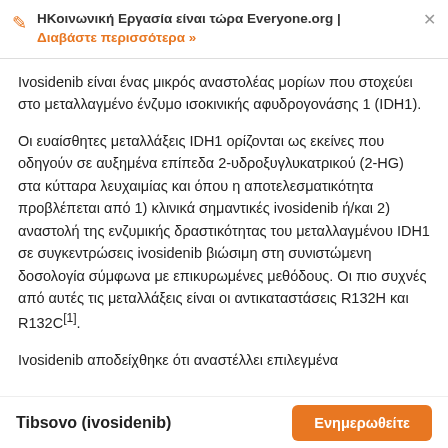ΗΚοινωνική Εργασία είναι τώρα Everyone.org | Διαβάστε περισσότερα »
Ivosidenib είναι ένας μικρός αναστολέας μορίων που στοχεύει στο μεταλλαγμένο ένζυμο ισοκινικής αφυδρογονάσης 1 (IDH1).
Οι ευαίσθητες μεταλλάξεις IDH1 ορίζονται ως εκείνες που οδηγούν σε αυξημένα επίπεδα 2-υδροξυγλυκατρικού (2-HG) στα κύτταρα λευχαιμίας και όπου η αποτελεσματικότητα προβλέπεται από 1) κλινικά σημαντικές ivosidenib ή/και 2) αναστολή της ενζυμικής δραστικότητας του μεταλλαγμένου IDH1 σε συγκεντρώσεις ivosidenib βιώσιμη στη συνιστώμενη δοσολογία σύμφωνα με επικυρωμένες μεθόδους. Οι πιο συχνές από αυτές τις μεταλλάξεις είναι οι αντικαταστάσεις R132H και R132C[1].
Ivosidenib αποδείχθηκε ότι αναστέλλει επιλεγμένα
Tibsovo (ivosidenib)   Ενημερωθείτε